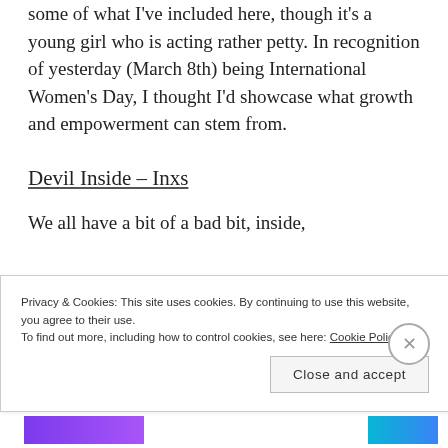some of what I've included here, though it's a young girl who is acting rather petty. In recognition of yesterday (March 8th) being International Women's Day, I thought I'd showcase what growth and empowerment can stem from.
Devil Inside – Inxs
We all have a bit of a bad bit, inside,
Privacy & Cookies: This site uses cookies. By continuing to use this website, you agree to their use. To find out more, including how to control cookies, see here: Cookie Policy